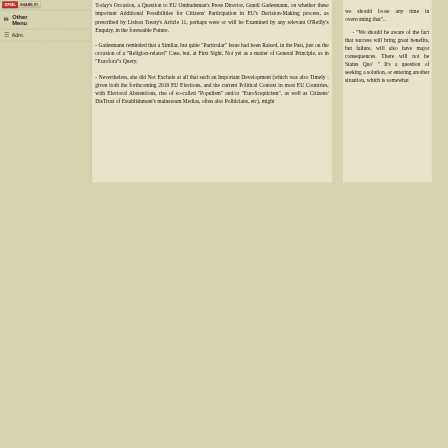OPML | SHARE IT! | Other Menu | Adm.
Today's Occasion, a Question to EU Ombudsman's Press Director, Gundi Gadesmann, on whether these important Additional Possibilities for Citizens' Participation in EU's Decision-Making process, as prescribed by Lisbon Treaty's Article 11, perhaps were or will be Examined by any relevant O'Reilly's Enquiry, in the foreseable Future.
- Gadesmann reminded that a Similar, but quite "Particular" Issue had been Raised, in the Past, just on the occasion of a "Religion-related" Case, but, at First Sight, Not yet as a matter of General Principle, as in "Eurofora"s Query.
- Nevertheless, she did Not Exclude at all that such an Important Development (which was also Timely : given both the forthcoming 2019 EU Elections, and the current Political Context in most EU Countries, with Electoral Abstentions, rise of so-called "Populism" and/or "EuroScepticism", as well as Citizens' DisTrust of Establishment's mainsream Medias, often also Politicians, etc), might
we should loose any time in overcoming that"..
- "We should be aware of the fact that success will bring great benefits, but failure, will also have major consequences. There will not be Status Quo' " It's a question of seeking a solution, or entering another situation, which is somewhat